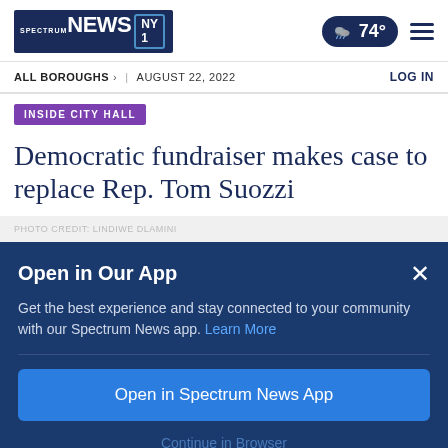Spectrum News NY1 | 74° | ALL BOROUGHS > | AUGUST 22, 2022 | LOG IN
INSIDE CITY HALL
Democratic fundraiser makes case to replace Rep. Tom Suozzi
Open in Our App
Get the best experience and stay connected to your community with our Spectrum News app. Learn More
Open in Spectrum News App
Continue in Browser